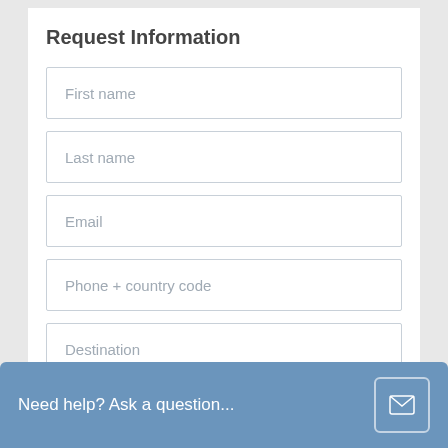Request Information
First name
Last name
Email
Phone + country code
Destination
Yacht Type...
Need help? Ask a question...